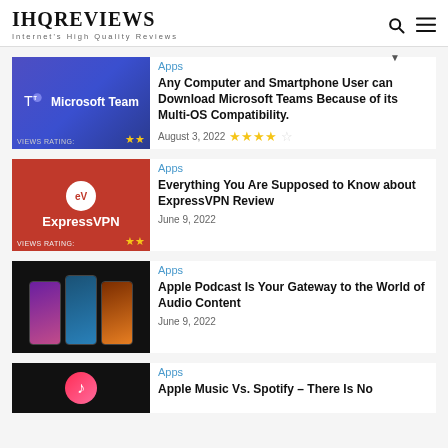IHQREVIEWS — Internet's High Quality Reviews
[Figure (screenshot): Microsoft Teams thumbnail with blue background and Teams logo]
Apps
Any Computer and Smartphone User can Download Microsoft Teams Because of its Multi-OS Compatibility.
August 3, 2022  ★★★★☆
[Figure (screenshot): ExpressVPN thumbnail with red background and EV logo]
Apps
Everything You Are Supposed to Know about ExpressVPN Review
June 9, 2022
[Figure (screenshot): Apple Podcast thumbnail showing three phones with app screens]
Apps
Apple Podcast Is Your Gateway to the World of Audio Content
June 9, 2022
[Figure (screenshot): Apple Music vs Spotify thumbnail with dark/pink background]
Apps
Apple Music Vs. Spotify – There Is No…